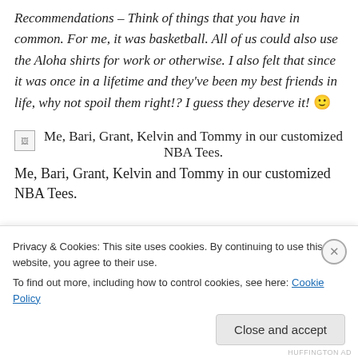Recommendations – Think of things that you have in common. For me, it was basketball. All of us could also use the Aloha shirts for work or otherwise. I also felt that since it was once in a lifetime and they've been my best friends in life, why not spoil them right!? I guess they deserve it! 🙂
[Figure (photo): Broken image placeholder with caption: Me, Bari, Grant, Kelvin and Tommy in our customized NBA Tees.]
Me, Bari, Grant, Kelvin and Tommy in our customized NBA Tees.
Privacy & Cookies: This site uses cookies. By continuing to use this website, you agree to their use. To find out more, including how to control cookies, see here: Cookie Policy